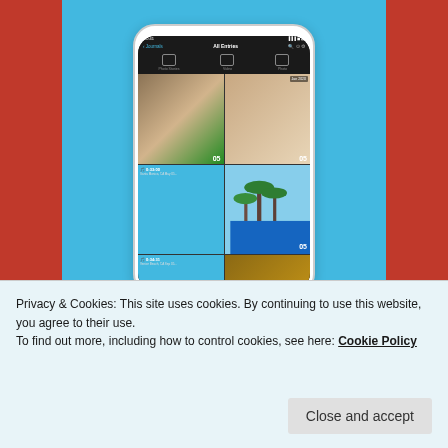[Figure (screenshot): Mobile app screenshot showing a photo journal app with grid of photos and videos. App header shows 'Journals / All Entries' with icons for Photo Stories, Video, Photo. Grid shows travel photos with dates and counters. Blue background behind phone mockup.]
REPORT THIS AD
ARCHIVES
October 2019
Privacy & Cookies: This site uses cookies. By continuing to use this website, you agree to their use.
To find out more, including how to control cookies, see here: Cookie Policy
Close and accept